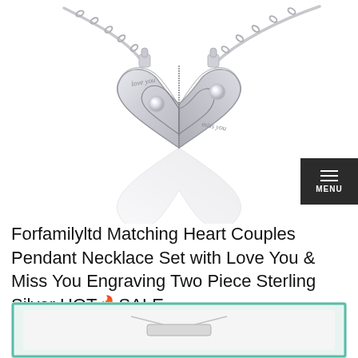[Figure (photo): Silver matching heart couples pendant necklace set, two interlocking heart-shaped pendants with cubic zirconia stones engraved with 'love you' and 'miss you', shown with chains on white background with reflection]
Forfamilyltd Matching Heart Couples Pendant Necklace Set with Love You & Miss You Engraving Two Piece Sterling Silver HOT🔥SALE
[Figure (photo): Product packaging box with white velvet insert showing the sterling silver necklace set in a teal/green bordered display box]